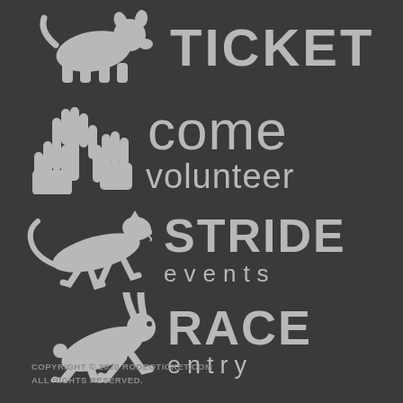[Figure (logo): Rodeo Ticket logo with animal silhouette icon and TICKET text in large bold uppercase letters]
[Figure (logo): Come volunteer logo with raised hands icon and 'come volunteer' text]
[Figure (logo): Stride Events logo with running cheetah icon and STRIDE events text]
[Figure (logo): Race Entry logo with running hare icon and RACE entry text]
COPYRIGHT © 2020 RODEOTICKET.COM
ALL RIGHTS RESERVED.